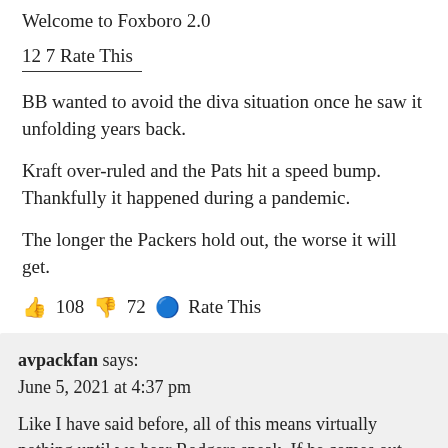Welcome to Foxboro 2.0
12 7 Rate This
BB wanted to avoid the diva situation once he saw it unfolding years back.
Kraft over-ruled and the Pats hit a speed bump. Thankfully it happened during a pandemic.
The longer the Packers hold out, the worse it will get.
👍 108 👎 72 🔵 Rate This
avpackfan says:
June 5, 2021 at 4:37 pm
Like I have said before, all of this means virtually nothing until we hear Rodgers speak. If he comes out and actually says he wants out, then trade him or let him retire. If he actually says